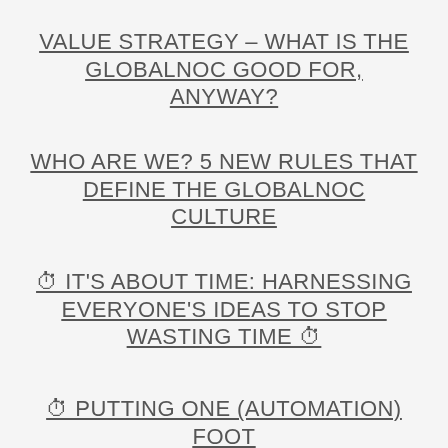VALUE STRATEGY – WHAT IS THE GLOBALNOC GOOD FOR, ANYWAY?
WHO ARE WE? 5 NEW RULES THAT DEFINE THE GLOBALNOC CULTURE
⏱ IT'S ABOUT TIME: HARNESSING EVERYONE'S IDEAS TO STOP WASTING TIME ⏱
⏱ PUTTING ONE (AUTOMATION) FOOT